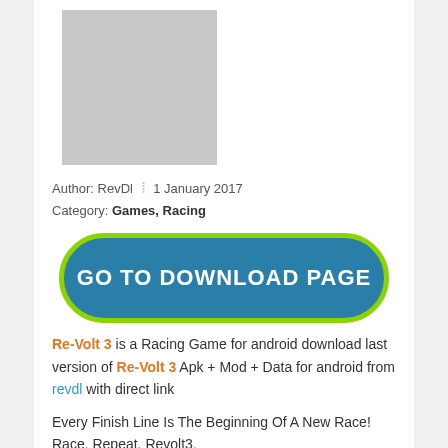[Figure (photo): Gray placeholder image for app icon]
Author: RevDl | 1 January 2017
Category: Games, Racing
[Figure (other): Green-bordered teal button with text GO TO DOWNLOAD PAGE]
Re-Volt 3 is a Racing Game for android download last version of Re-Volt 3 Apk + Mod + Data for android from revdl with direct link
Every Finish Line Is The Beginning Of A New Race!
Race. Repeat. Revolt3.
Realistic RC Car Racing